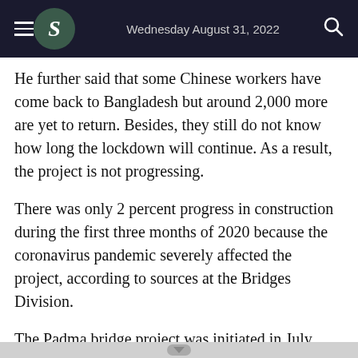Wednesday August 31, 2022
He further said that some Chinese workers have come back to Bangladesh but around 2,000 more are yet to return. Besides, they still do not know how long the lockdown will continue. As a result, the project is not progressing.
There was only 2 percent progress in construction during the first three months of 2020 because the coronavirus pandemic severely affected the project, according to sources at the Bridges Division.
The Padma bridge project was initiated in July 2007 at an estimated cost of Tk10,162 crore, and was supposed to be completed by August 2015. But work